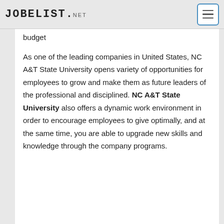JOBELIST.NET
budget
As one of the leading companies in United States, NC A&T State University opens variety of opportunities for employees to grow and make them as future leaders of the professional and disciplined. NC A&T State University also offers a dynamic work environment in order to encourage employees to give optimally, and at the same time, you are able to upgrade new skills and knowledge through the company programs.